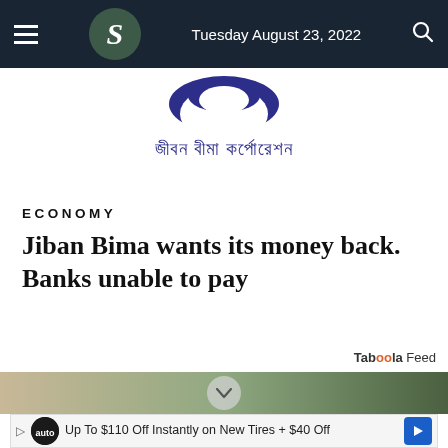Tuesday August 23, 2022
[Figure (logo): Jiban Bima Corporation logo — dark blue arc/half-circle shape above Bengali text reading 'জীবন বীমা কর্পোরেশন']
ECONOMY
Jiban Bima wants its money back. Banks unable to pay
Taboola Feed
[Figure (photo): Partial image of a building and trees visible at the bottom of the page]
Up To $110 Off Instantly on New Tires + $40 Off